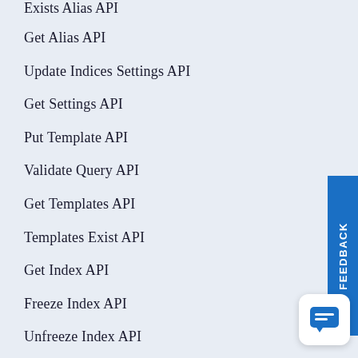Exists Alias API
Get Alias API
Update Indices Settings API
Get Settings API
Put Template API
Validate Query API
Get Templates API
Templates Exist API
Get Index API
Freeze Index API
Unfreeze Index API
Delete Template API
Reload Search Analyzers API
Cluster API